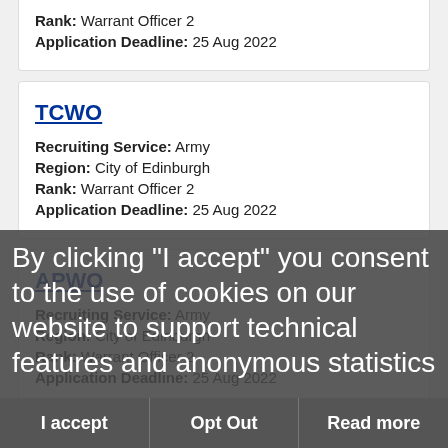Rank: Warrant Officer 2
Application Deadline: 25 Aug 2022
TCWO
Recruiting Service: Army
Region: City of Edinburgh
Rank: Warrant Officer 2
Application Deadline: 25 Aug 2022
APWO
Recruiting Service: Army
Region: City of Edinburgh
Rank: Warrant Officer 2
Application Deadline: 25 Aug 2022
By clicking "I accept" you consent to the use of cookies on our website to support technical features and anonymous statistics
I accept | Opt Out | Read more